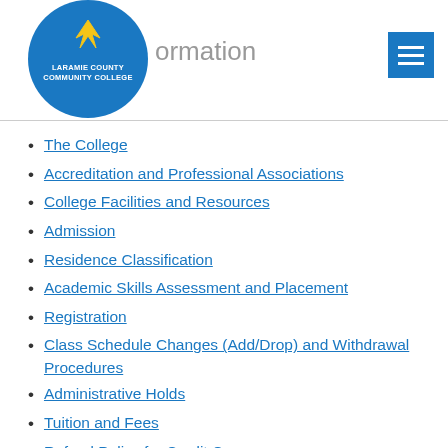[Figure (logo): Laramie County Community College logo — blue circle with yellow eagle and white text]
The College
Accreditation and Professional Associations
College Facilities and Resources
Admission
Residence Classification
Academic Skills Assessment and Placement
Registration
Class Schedule Changes (Add/Drop) and Withdrawal Procedures
Administrative Holds
Tuition and Fees
Refund Policy for Credit Courses
Refund Policy for Noncredit Courses
Academic Policies and Regulations
Records of Deceased Students